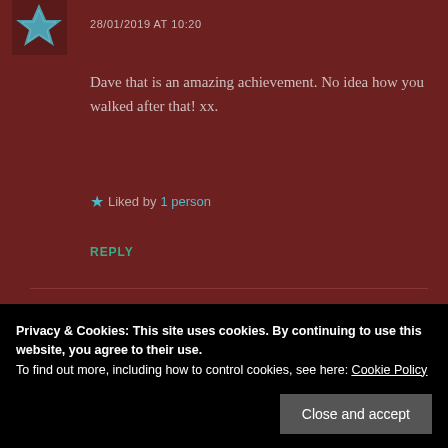[Figure (logo): Avatar icon with teal geometric snowflake/star pattern on dark background]
28/01/2019 AT 10:20
Dave that is an amazing achievement. No idea how you walked after that! xx.
★ Liked by 1 person
REPLY
Leave a Reply
Privacy & Cookies: This site uses cookies. By continuing to use this website, you agree to their use.
To find out more, including how to control cookies, see here: Cookie Policy
Close and accept